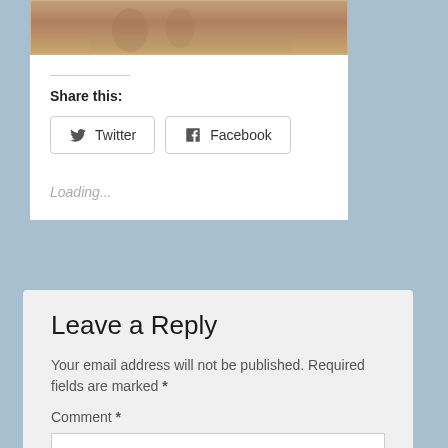[Figure (photo): Top portion of a sepia-toned historical photograph showing what appears to be a framed image with brownish tones]
Share this:
Twitter
Facebook
Loading...
Leave a Reply
Your email address will not be published. Required fields are marked *
Comment *